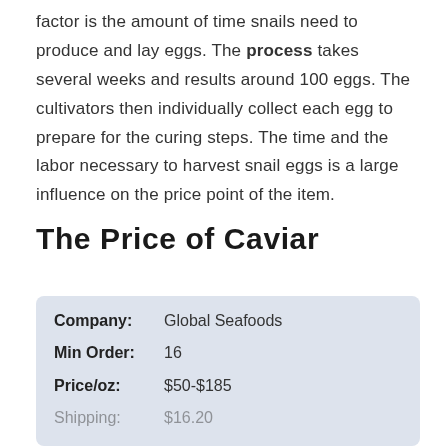factor is the amount of time snails need to produce and lay eggs. The process takes several weeks and results around 100 eggs. The cultivators then individually collect each egg to prepare for the curing steps. The time and the labor necessary to harvest snail eggs is a large influence on the price point of the item.
The Price of Caviar
| Field | Value |
| --- | --- |
| Company: | Global Seafoods |
| Min Order: | 16 |
| Price/oz: | $50-$185 |
| Shipping: | $16.20 |